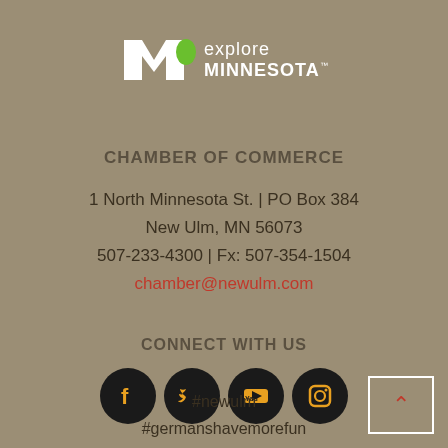[Figure (logo): Explore Minnesota logo with stylized 'm' in white and green and text 'explore MINNESOTA']
CHAMBER OF COMMERCE
1 North Minnesota St. | PO Box 384
New Ulm, MN 56073
507-233-4300 | Fx: 507-354-1504
chamber@newulm.com
CONNECT WITH US
[Figure (infographic): Four social media icons (Facebook, Twitter, YouTube, Instagram) as white symbols on black circles with gold/yellow outlines]
#newulm
#germanshavemorefun